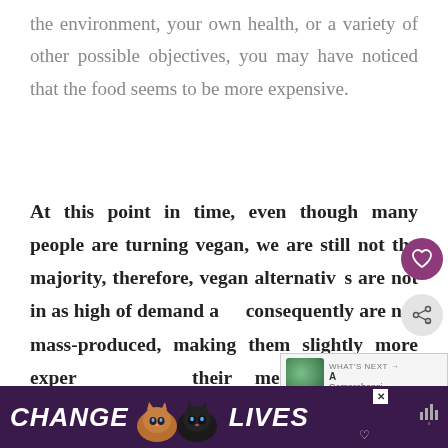the environment, your own health, or a variety of other possible objectives, you may have noticed that the food seems to be more expensive.
At this point in time, even though many people are turning vegan, we are still not the majority, therefore, vegan alternatives are not in as high of demand and consequently are not mass-produced, making them slightly more expensive than their meat and dairy counterparts.
[Figure (screenshot): UI overlay showing a heart/like button (purple circle) and a share button on the right side of the page, plus a 'WHAT'S NEXT' card with thumbnail and text 'A Comprehensi...']
[Figure (infographic): Advertisement banner at bottom: dark purple background with 'CHANGE' on left, two cat images in center, 'LIVES' on right, close X button, heart icon, and audio/mute icon on far right]